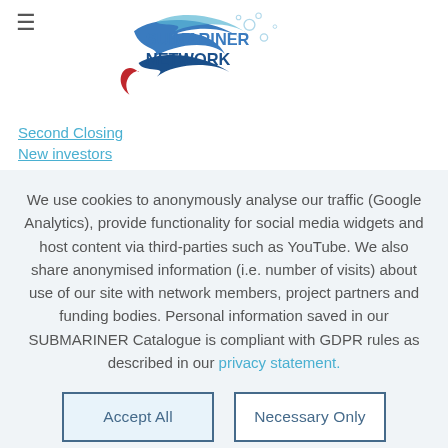[Figure (logo): SUBMARINER NETWORK logo with stylized fish/wave shapes in blue and red]
Second Closing
New investors
We use cookies to anonymously analyse our traffic (Google Analytics), provide functionality for social media widgets and host content via third-parties such as YouTube. We also share anonymised information (i.e. number of visits) about use of our site with network members, project partners and funding bodies. Personal information saved in our SUBMARINER Catalogue is compliant with GDPR rules as described in our privacy statement.
Accept All
Necessary Only